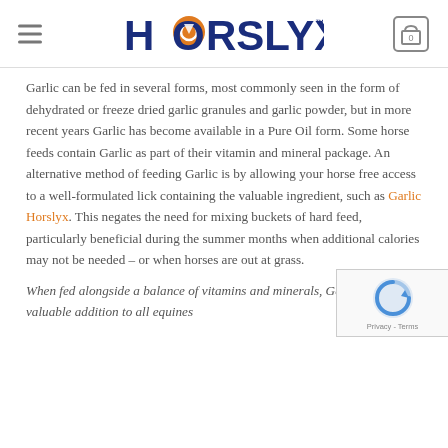HORSLYX
Garlic can be fed in several forms, most commonly seen in the form of dehydrated or freeze dried garlic granules and garlic powder, but in more recent years Garlic has become available in a Pure Oil form. Some horse feeds contain Garlic as part of their vitamin and mineral package. An alternative method of feeding Garlic is by allowing your horse free access to a well-formulated lick containing the valuable ingredient, such as Garlic Horslyx. This negates the need for mixing buckets of hard feed, particularly beneficial during the summer months when additional calories may not be needed – or when horses are out at grass.
When fed alongside a balance of vitamins and minerals, Garlic is a valuable addition to all equines